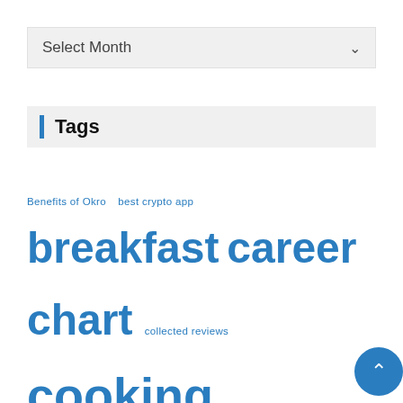Select Month
Tags
Benefits of Okro  best crypto app  breakfast  career  chart  collected reviews  cooking  cooking class  cooking class singapore  culinary  electric smokers  food delivery  food recipe blog  gajar ka halwa  Germany will find that this meal  grill master  healthy diet  hiking destinations  ketogenic diet  La Liga  MAGISNAT  Muscle Food  services  Persian Food  price tag  processed foods  recipes  refrigerator  restaurants  school  smoked salmon